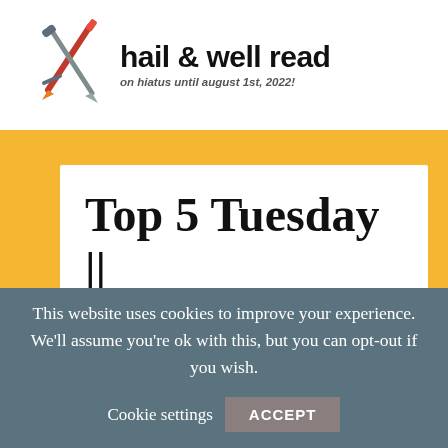[Figure (logo): Hail & Well Read blog logo: two crossed swords/pencils forming an X shape, one red/orange pencil and one grey sword]
hail & well read
on hiatus until august 1st, 2022!
Top 5 Tuesday || Books I'd Like for
This website uses cookies to improve your experience. We'll assume you're ok with this, but you can opt-out if you wish.
Cookie settings    ACCEPT